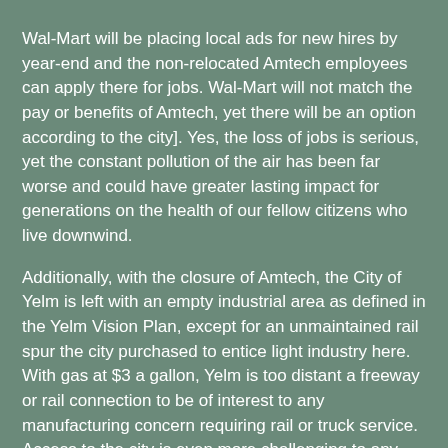Wal-Mart will be placing local ads for new hires by year-end and the non-relocated Amtech employees can apply there for jobs. Wal-Mart will not match the pay or benefits of Amtech, yet there will be an option according to the city]. Yes, the loss of jobs is serious, yet the constant pollution of the air has been far worse and could have greater lasting impact for generations on the health of our fellow citizens who live downwind.
Additionally, with the closure of Amtech, the City of Yelm is left with an empty industrial area as defined in the Yelm Vision Plan, except for an unmaintained rail spur the city purchased to entice light industry here. With gas at $3 a gallon, Yelm is too distant a freeway or rail connection to be of interest to any manufacturing concern requiring rail or truck service. Access to the city is even more challenging to any prospective company because of continued growth by city officials with no road capacity increase within the Yelm urban core on already-clogged highways 510 or 507, main arteries to I-5, IMHO.